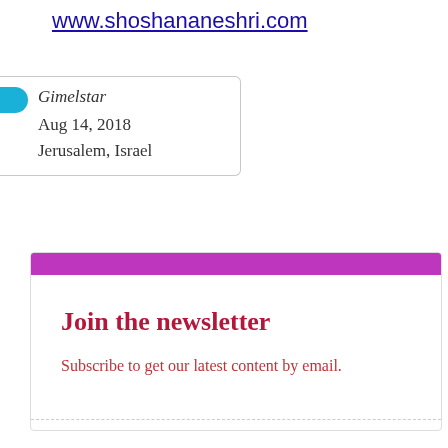www.shoshananeshri.com
Gimelstar
Aug 14, 2018
Jerusalem, Israel
Join the newsletter
Subscribe to get our latest content by email.